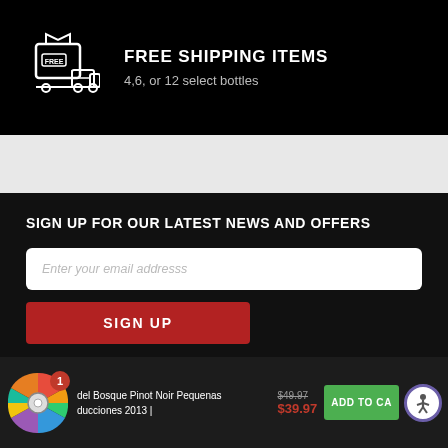[Figure (illustration): Free shipping icon: a box with a bookmark/tag and a delivery truck, white line art on black background]
FREE SHIPPING ITEMS
4,6, or 12 select bottles
SIGN UP FOR OUR LATEST NEWS AND OFFERS
Enter your email addresss
SIGN UP
[Figure (illustration): Colorful spinning prize wheel with multiple colored segments and a center disc, with a red badge showing number 1]
del Bosque Pinot Noir Pequenas
ducciones 2013 |
$49.97
$39.97
ADD TO CA
[Figure (illustration): Accessibility icon: white person figure in a circle with purple border]